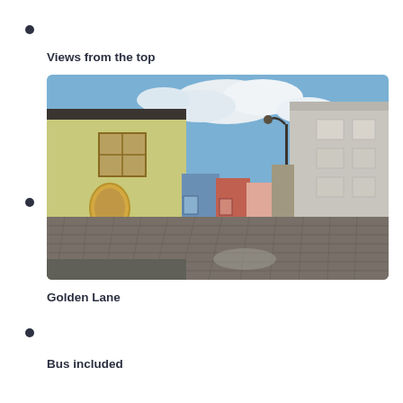Views from the top
[Figure (photo): A cobblestone street (Golden Lane) in Prague, lined with colorful small houses in yellow-green, blue, red, and pink tones, with a large grey stone building on the right. Blue sky with white clouds overhead.]
Golden Lane
Bus included